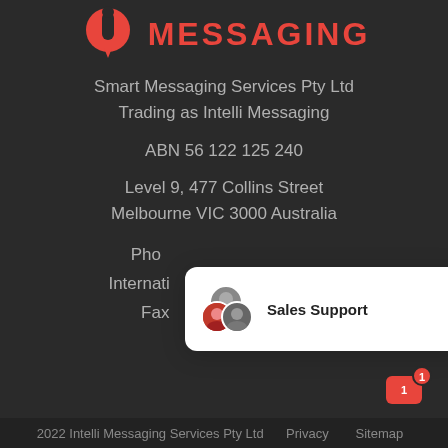[Figure (logo): Intelli Messaging logo with red speech bubble icon and red MESSAGING text]
Smart Messaging Services Pty Ltd
Trading as Intelli Messaging
ABN 56 122 125 240
Level 9, 477 Collins Street
Melbourne VIC 3000 Australia
Pho...
Internati...
Fax...
[Figure (screenshot): Chat support popup showing avatars and Sales Support label]
2022 Intelli Messaging Services Pty Ltd  Privacy  Sitemap